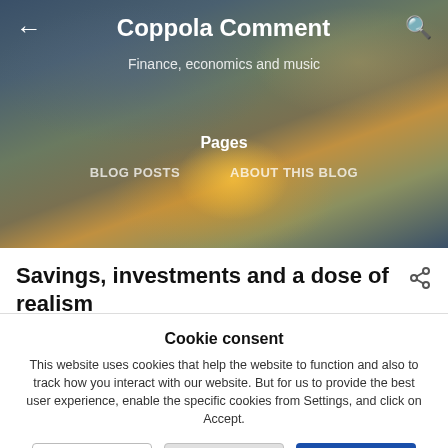[Figure (photo): Sunset sky with clouds background image for Coppola Comment blog header]
← Coppola Comment 🔍
Finance, economics and music
Pages
BLOG POSTS
ABOUT THIS BLOG
Savings, investments and a dose of realism
Cookie consent
This website uses cookies that help the website to function and also to track how you interact with our website. But for us to provide the best user experience, enable the specific cookies from Settings, and click on Accept.
Preferences | Reject All | Accept All